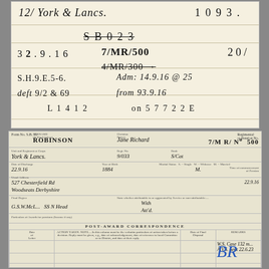12/ York & Lancs.   1093.
SB023 (strikethrough)
32.9.16   7/MR/500   201
4/MR/300 (strikethrough)
S.H.9.E.5-6.   Adm: 14.9.16 @ 25
deft 9/2 & 69   from 93 9.16
L 1412   on 57722E
| Form No. S.B. 35 | Surname | Christian Names | Regimental No. |
| --- | --- | --- | --- |
| ROBINSON | Jane Richard | 7/M R/  No  500 |
| York & Lancs. | 9/033 | S/Cat |
| 22.9.16 | 1884 | M.  Single/Widower/Married  M. |
| 527 Chesterfield Rd, Woodseats Derbyshire |  | 22.9.16 |
| G.S.W.McL...   SS N Head | With |  |
| Condition of limb &. | Att'd |  |
POST-AWARD CORRESPONDENCE
W.S. Case  132 m...  A.V.S. Sent 22.6.23
[Figure (other): Blue ink signature/initials on the pension form]